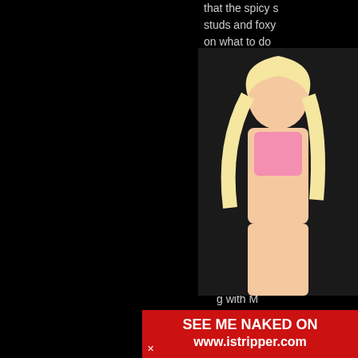that the spicy s... studs and foxy ... on what to do ...
Members here ... that's been sho... babes get the l... haired and very... get to look forw... updates to kee... exciting. Memb... explicitly delicio... brands of the in... ng with M... bers 12,75... join now... entsX... nce!
[Figure (photo): Blonde woman in pink lingerie]
SEE ME NAKED ON www.istripper.com